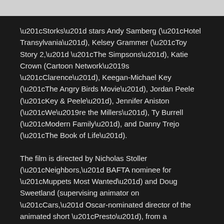“Storks” stars Andy Samberg (“Hotel Transylvania”), Kelsey Grammer (“Toy Story 2,” “The Simpsons”), Katie Crown (Cartoon Network’s “Clarence”), Keegan-Michael Key (“The Angry Birds Movie”), Jordan Peele (“Key & Peele”), Jennifer Aniston (“We’re the Millers”), Ty Burrell (“Modern Family”), and Danny Trejo (“The Book of Life”).
The film is directed by Nicholas Stoller (“Neighbors,” BAFTA nominee for “Muppets Most Wanted”) and Doug Sweetland (supervising animator on “Cars,” Oscar-nominated director of the animated short “Presto”), from a screenplay